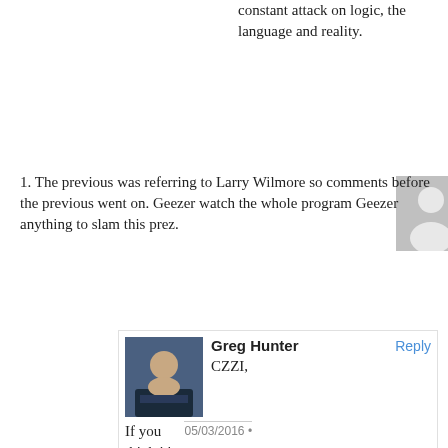constant attack on logic, the language and reality.
czzi
05/03/2016
This is why this site is a joke.
1. The previous was referring to Larry Wilmore so comments before the previous went on. Geezer watch the whole program Geezer anything to slam this prez.
[Figure (photo): Gray placeholder avatar silhouette for user czzi]
Reply
[Figure (photo): Photo of Greg Hunter, a man in a suit with dark hair]
Greg Hunter
Reply
CZZI,
05/03/2016
If you think it's a joke why do you comment